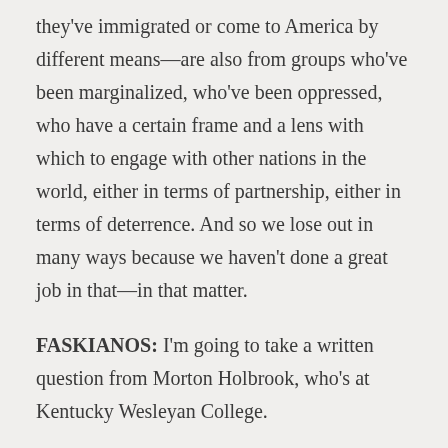they've immigrated or come to America by different means—are also from groups who've been marginalized, who've been oppressed, who have a certain frame and a lens with which to engage with other nations in the world, either in terms of partnership, either in terms of deterrence. And so we lose out in many ways because we haven't done a great job in that—in that matter.
FASKIANOS: I'm going to take a written question from Morton Holbrook, who's at Kentucky Wesleyan College.
His question is: How should the United States respond to international criticism to the U.S.'s racial